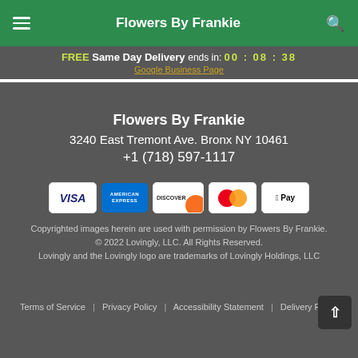Flowers By Frankie
FREE Same Day Delivery ends in: 00 : 08 : 38
Google Business Page
Flowers By Frankie
3240 East Tremont Ave. Bronx NY 10461
+1 (718) 597-1117
[Figure (infographic): Payment method badges: VISA, American Express, Discover, Mastercard, Apple Pay]
Copyrighted images herein are used with permission by Flowers By Frankie.
© 2022 Lovingly, LLC. All Rights Reserved.
Lovingly and the Lovingly logo are trademarks of Lovingly Holdings, LLC
Terms of Service | Privacy Policy | Accessibility Statement | Delivery Policy